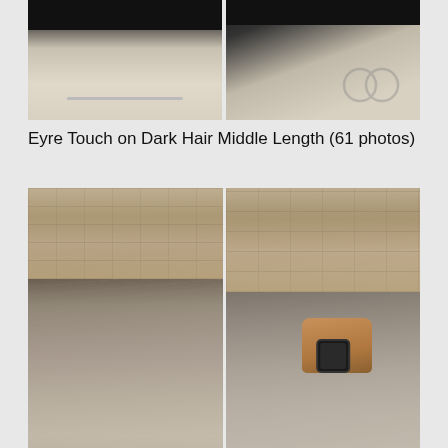[Figure (photo): Two side-by-side cropped photos of hair styling tools or hair close-ups, partial view at top of page]
Eyre Touch on Dark Hair Middle Length (61 photos)
[Figure (photo): Two side-by-side photos showing a woman's long dark hair with balayage/ash highlights, back view, standing in front of a stone wall. Right photo shows a stylist's hand with an Apple Watch working on the hair.]